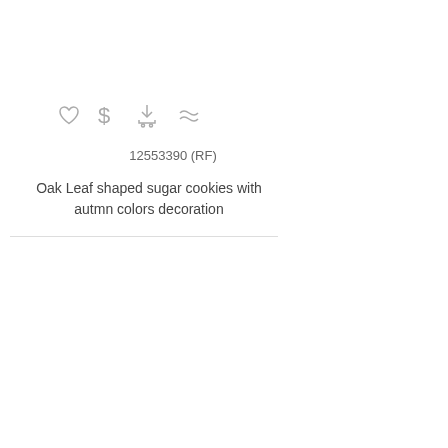[Figure (infographic): Row of four icons: heart (favorite), dollar sign (price/buy), shopping cart (add to cart), and approximately equal sign (similar)]
12553390 (RF)
Oak Leaf shaped sugar cookies with autmn colors decoration